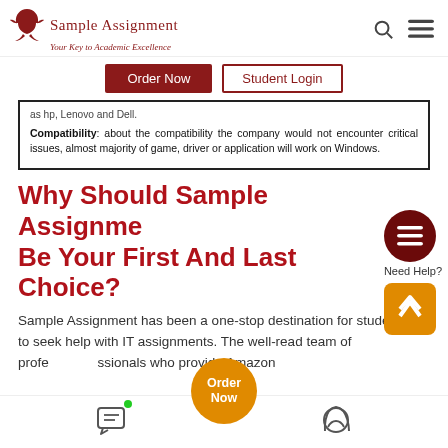Sample Assignment — Your Key to Academic Excellence
as hp, Lenovo and Dell.
Compatibility: about the compatibility the company would not encounter critical issues, almost majority of game, driver or application will work on Windows.
Why Should Sample Assignment Be Your First And Last Choice?
Sample Assignment has been a one-stop destination for students to seek help with IT assignments. The well-read team of professionals who provide Amazon